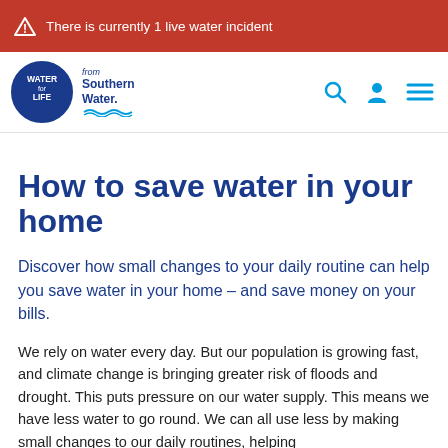There is currently 1 live water incident
[Figure (logo): Water for Life from Southern Water logo with navigation icons (search, profile, menu)]
How to save water in your home
Discover how small changes to your daily routine can help you save water in your home – and save money on your bills.
We rely on water every day. But our population is growing fast, and climate change is bringing greater risk of floods and drought. This puts pressure on our water supply. This means we have less water to go round. We can all use less by making small changes to our daily routines, helping...